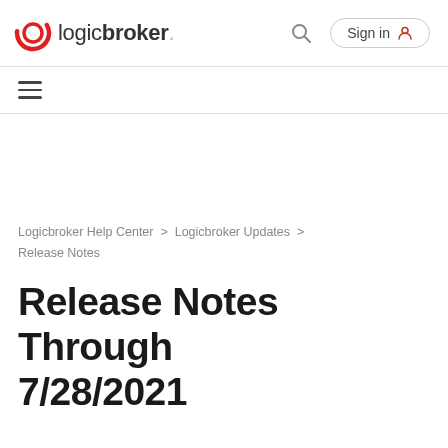logicbroker. Sign in
≡
Logicbroker Help Center > Logicbroker Updates > Release Notes
Release Notes Through 7/28/2021